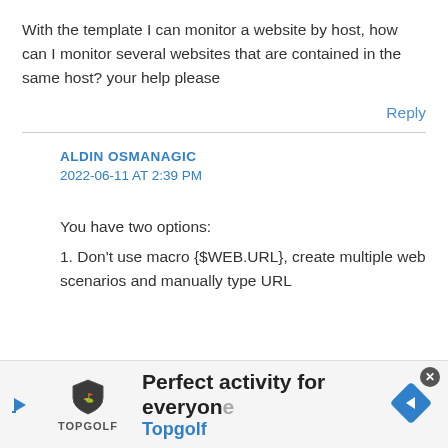With the template I can monitor a website by host, how can I monitor several websites that are contained in the same host? your help please
Reply
ALDIN OSMANAGIC
2022-06-11 AT 2:39 PM
You have two options:
1. Don't use macro {$WEB.URL}, create multiple web scenarios and manually type URL
[Figure (screenshot): Advertisement banner for Topgolf: 'Perfect activity for everyone' with Topgolf logo and navigation arrow icon]